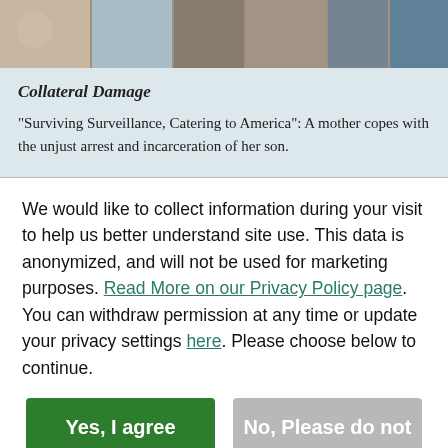[Figure (photo): A collage strip of family/people photos at the top of the page]
Collateral Damage
"Surviving Surveillance, Catering to America": A mother copes with the unjust arrest and incarceration of her son.
We would like to collect information during your visit to help us better understand site use. This data is anonymized, and will not be used for marketing purposes. Read More on our Privacy Policy page. You can withdraw permission at any time or update your privacy settings here. Please choose below to continue.
Yes, I agree
No, Please do not